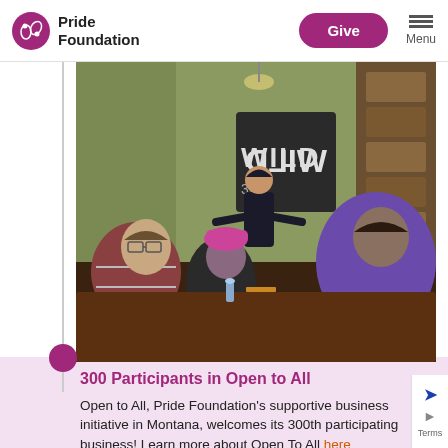Pride Foundation | Give | Menu
[Figure (photo): A person standing and speaking to a group of people seated around a table in a cafe or community space. A 'WILD' sign is visible in the background. People are listening attentively.]
300 Participants in Open to All
Open to All, Pride Foundation's supportive business initiative in Montana, welcomes its 300th participating business! Learn more about Open To All here